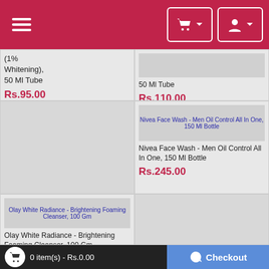Navigation header with hamburger menu, cart icon, and user icon
(1% Whitening), 50 Ml Tube
Rs.95.00
50 Ml Tube
Rs.110.00
[Figure (photo): Large gray image placeholder for product]
Nivea Face Wash - Men Oil Control All In One, 150 Ml Bottle (link)
Nivea Face Wash - Men Oil Control All In One, 150 Ml Bottle
Rs.245.00
Olay White Radiance - Brightening Foaming Cleanser, 100 Gm (link)
Olay White Radiance - Brightening Foaming Cleanser, 100 Gm
Rs.349.00
0 item(s) - Rs.0.00 | Checkout